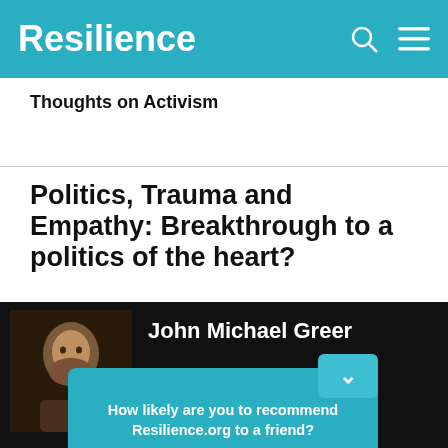Resilience
Thoughts on Activism
Politics, Trauma and Empathy: Breakthrough to a politics of the heart?
John Michael Greer
How likely are you to recommend Resilience.org to a friend?
Reply
or and aps ure of s as Druids in